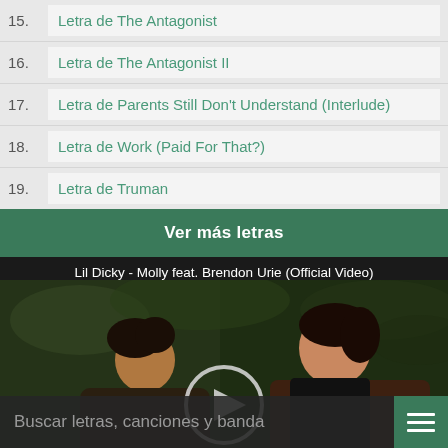15. Letra de The Antagonist
16. Letra de The Antagonist II
17. Letra de Parents Still Don't Understand (Interlude)
18. Letra de Work (Paid For That?)
19. Letra de Truman
Ver más letras
[Figure (screenshot): Video thumbnail for Lil Dicky - Molly feat. Brendon Urie (Official Video) showing two people with a play button overlay]
Buscar letras, canciones y banda